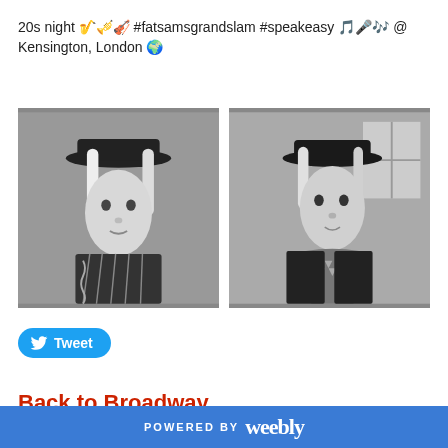20s night 🎷🎺🎻 #fatsamsgrandslam #speakeasy 🎵🎤🎶 @ Kensington, London 🌍
[Figure (photo): Black and white photo of a person wearing a dark flat cap and striped jacket, looking to the side]
[Figure (photo): Black and white photo of the same person wearing a dark flat cap and a patterned scarf/tie, facing forward]
Tweet
Back to Broadway
POWERED BY weebly